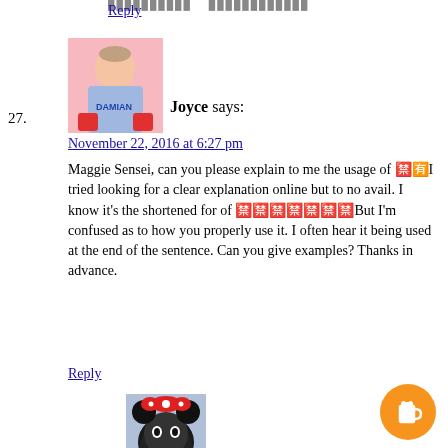██████████ ████████████
Reply
27. Joyce says: November 22, 2016 at 6:27 pm
Maggie Sensei, can you please explain to me the usage of 🈲🈲🈶🈶I tried looking for a clear explanation online but to no avail. I know it's the shortened for of 🈲🈲🈲🈲🈲🈲🈲But I'm confused as to how you properly use it. I often hear it being used at the end of the sentence. Can you give examples? Thanks in advance.
Reply
1. Maggie says: November 22, 2016 at 10:53 pm
🌸Joyce
Hi Joyce!